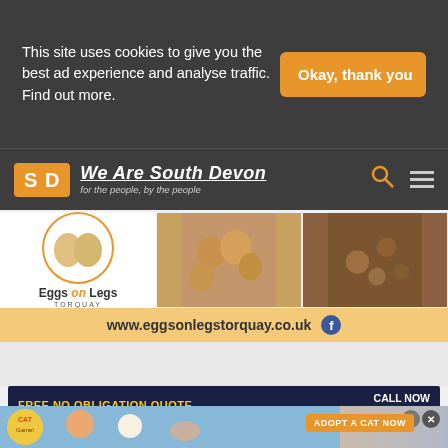This site uses cookies to give you the best ad experience and analyse traffic. Find out more.
Okay, thank you
We Are South Devon
for the people, by the people
[Figure (advertisement): Eggs on Legs Torquay advertisement with egg photos and URL www.eggsonlegstorquay.co.uk]
[Figure (advertisement): County Windows FREE NO OBLIGATION QUOTE - CALL NOW 01803 310800]
[Figure (advertisement): Adopt a Cat Now - Cat game advertisement]